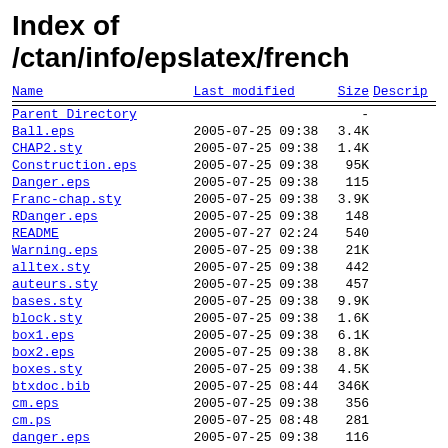Index of /ctan/info/epslatex/french
| Name | Last modified | Size | Descrip |
| --- | --- | --- | --- |
| Parent Directory |  | - |  |
| Ball.eps | 2005-07-25 09:38 | 3.4K |  |
| CHAP2.sty | 2005-07-25 09:38 | 1.4K |  |
| Construction.eps | 2005-07-25 09:38 | 95K |  |
| Danger.eps | 2005-07-25 09:38 | 115 |  |
| Franc-chap.sty | 2005-07-25 09:38 | 3.9K |  |
| RDanger.eps | 2005-07-25 09:38 | 148 |  |
| README | 2005-07-27 02:24 | 540 |  |
| Warning.eps | 2005-07-25 09:38 | 21K |  |
| alltex.sty | 2005-07-25 09:38 | 442 |  |
| auteurs.sty | 2005-07-25 09:38 | 457 |  |
| bases.sty | 2005-07-25 09:38 | 9.9K |  |
| block.sty | 2005-07-25 09:38 | 1.6K |  |
| box1.eps | 2005-07-25 09:38 | 6.1K |  |
| box2.eps | 2005-07-25 09:38 | 8.8K |  |
| boxes.sty | 2005-07-25 09:38 | 4.5K |  |
| btxdoc.bib | 2005-07-25 08:44 | 346K |  |
| cm.eps | 2005-07-25 09:38 | 356 |  |
| cm.ps | 2005-07-25 08:48 | 281 |  |
| danger.eps | 2005-07-25 09:38 | 116 |  |
| divers.sty | 2005-07-25 09:38 | 31K |  |